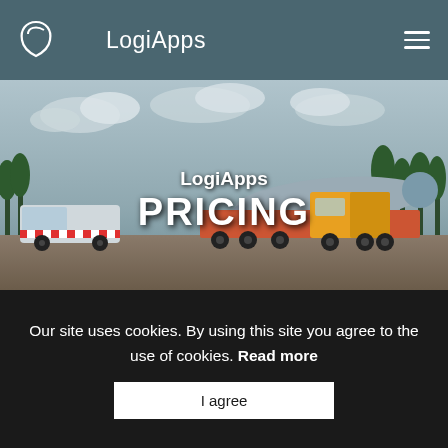LogiApps
[Figure (photo): Hero banner showing trucks and heavy transport vehicles on a road, with wind turbine blade being transported. Text overlay reads 'LogiApps PRICING']
LogiApps PRICING
LogiApps
Our site uses cookies. By using this site you agree to the use of cookies. Read more
I agree